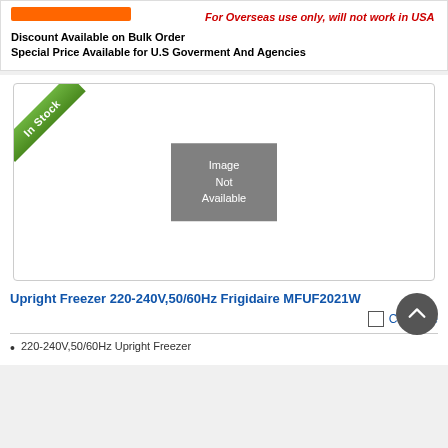[Figure (other): Orange button/bar at top left]
For Overseas use only, will not work in USA
Discount Available on Bulk Order
Special Price Available for U.S Goverment And Agencies
[Figure (photo): Product image box with In Stock ribbon and Image Not Available placeholder for Upright Freezer 220-240V,50/60Hz Frigidaire MFUF2021W]
Upright Freezer 220-240V,50/60Hz Frigidaire MFUF2021W
Compare
220-240V,50/60Hz Upright Freezer